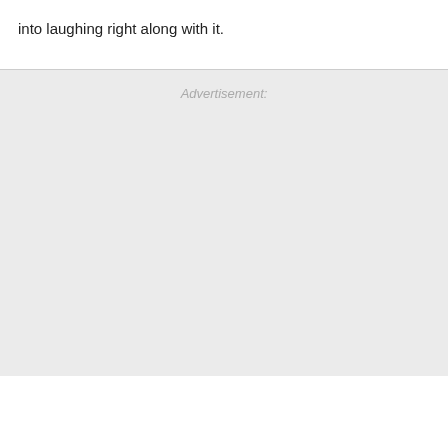into laughing right along with it.
Advertisement: